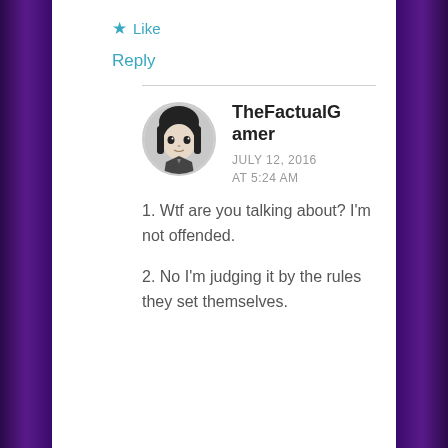★ Like
Reply
TheFactualGamer
JULY 12, 2016
AT 5:24 AM
1. Wtf are you talking about? I'm not offended.
2. No I'm judging it by the rules they set themselves.